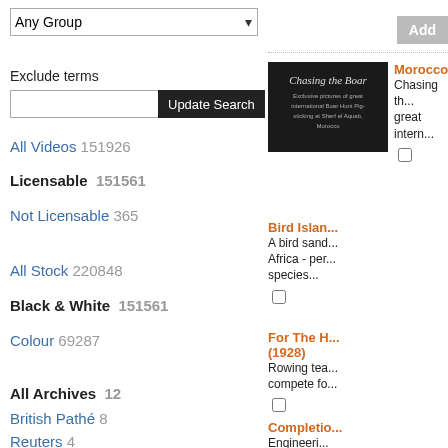Any Group (dropdown)
Exclude terms
Update Search (button)
All Videos 151926
Licensable 151561
Not Licensable 365
All Stock 220848
Black & White 151561
Colour 69287
All Archives 12
British Pathé 8
Reuters 4
Add (button)
[Figure (photo): Black and white still from film 'Chasing the Boar' - text overlay with title and description]
Morocco: Chasing th... great intern...
Bird Islan... A bird sand... Africa - per... species...
For The H... (1928) Rowing tea... compete fo...
Completio... Engineeri...